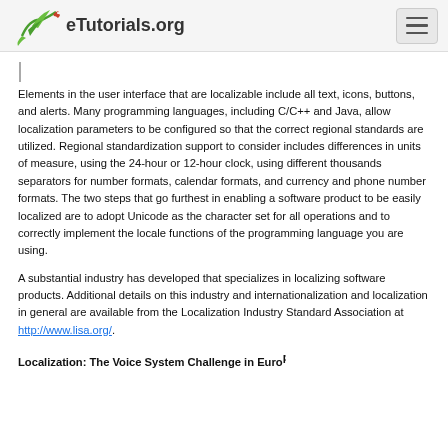eTutorials.org
Elements in the user interface that are localizable include all text, icons, buttons, and alerts. Many programming languages, including C/C++ and Java, allow localization parameters to be configured so that the correct regional standards are utilized. Regional standardization support to consider includes differences in units of measure, using the 24-hour or 12-hour clock, using different thousands separators for number formats, calendar formats, and currency and phone number formats. The two steps that go furthest in enabling a software product to be easily localized are to adopt Unicode as the character set for all operations and to correctly implement the locale functions of the programming language you are using.
A substantial industry has developed that specializes in localizing software products. Additional details on this industry and internationalization and localization in general are available from the Localization Industry Standard Association at http://www.lisa.org/.
Localization: The Voice System Challenge in Euro...